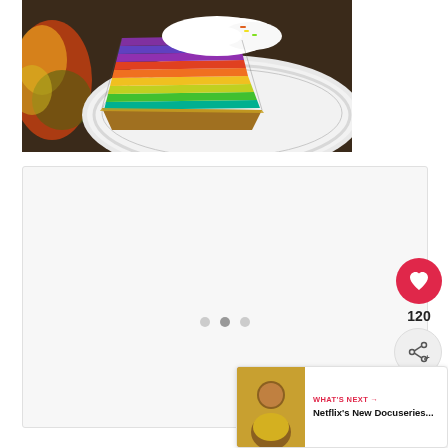[Figure (photo): A slice of rainbow cheesecake on a decorative white plate, viewed from above, showing colorful layers of purple, yellow, orange, green and teal with white whipped cream topping and sprinkles]
[Figure (photo): A mostly blank/white content card with a slideshow dots navigation indicator at the bottom]
[Figure (other): UI overlay: heart/like button showing 120 likes, and a share button]
[Figure (screenshot): What's Next card showing a thumbnail of a person and text: WHAT'S NEXT -> Netflix's New Docuseries...]